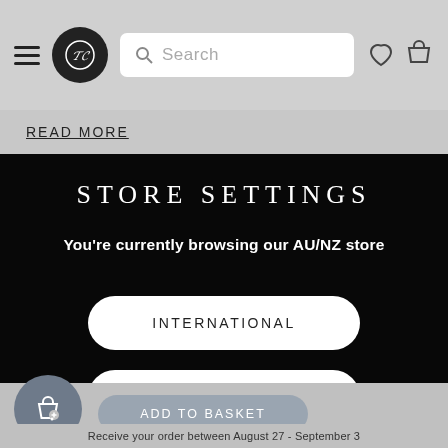Navigation bar with hamburger menu, logo, search bar, heart and basket icons
READ MORE
STORE SETTINGS
You're currently browsing our AU/NZ store
INTERNATIONAL
AUSTRALIA & NEW ZEALAND
ADD TO BASKET
Receive your order between August 27 - September 3